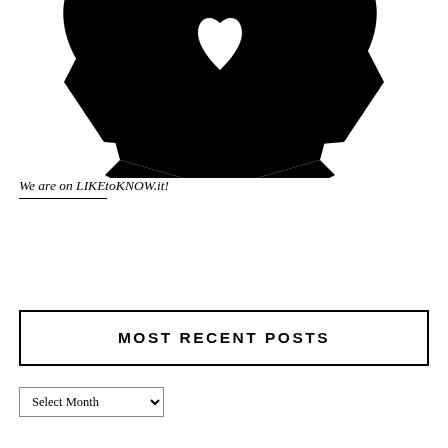[Figure (logo): Black and white soccer/football ball logo with heart shape cutout in the center, partially cropped at top]
We are on LIKEtoKNOW.it!
MOST RECENT POSTS